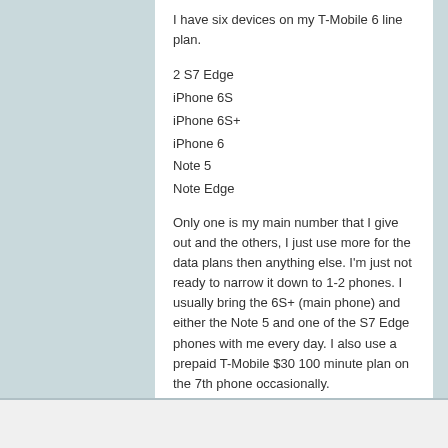I have six devices on my T-Mobile 6 line plan.
2 S7 Edge
iPhone 6S
iPhone 6S+
iPhone 6
Note 5
Note Edge
Only one is my main number that I give out and the others, I just use more for the data plans then anything else. I'm just not ready to narrow it down to 1-2 phones. I usually bring the 6S+ (main phone) and either the Note 5 and one of the S7 Edge phones with me every day. I also use a prepaid T-Mobile $30 100 minute plan on the 7th phone occasionally.
09-19-2016 08:11 AM